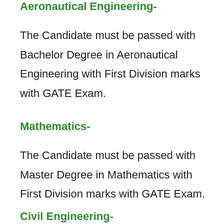Aeronautical Engineering-
The Candidate must be passed with Bachelor Degree in Aeronautical Engineering with First Division marks with GATE Exam.
Mathematics-
The Candidate must be passed with Master Degree in Mathematics with First Division marks with GATE Exam.
Civil Engineering-